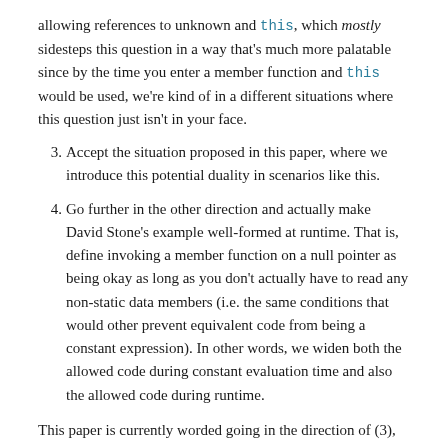allowing references to unknown and this, which mostly sidesteps this question in a way that's much more palatable since by the time you enter a member function and this would be used, we're kind of in a different situations where this question just isn't in your face.
3. Accept the situation proposed in this paper, where we introduce this potential duality in scenarios like this.
4. Go further in the other direction and actually make David Stone's example well-formed at runtime. That is, define invoking a member function on a null pointer as being okay as long as you don't actually have to read any non-static data members (i.e. the same conditions that would other prevent equivalent code from being a constant expression). In other words, we widen both the allowed code during constant evaluation time and also the allowed code during runtime.
This paper is currently worded going in the direction of (3),